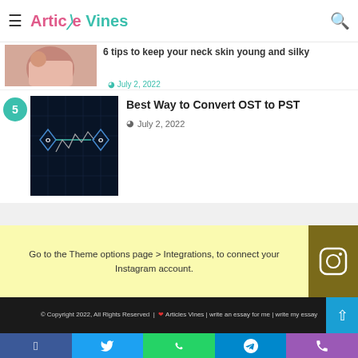Article Vines
[Figure (photo): Partial image of neck skin care article thumbnail - flesh tones]
6 tips to keep your neck skin young and silky
[Figure (photo): OST to PST conversion software screenshot - dark blue background with Outlook icons and graph]
Best Way to Convert OST to PST
July 2, 2022
Go to the Theme options page > Integrations, to connect your Instagram account.
© Copyright 2022, All Rights Reserved  |  ❤ Articles Vines | write an essay for me | write my essay